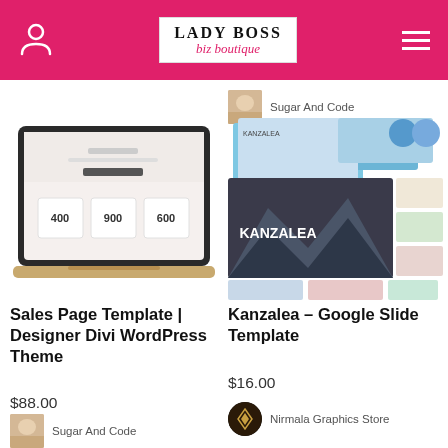[Figure (screenshot): Lady Boss Biz Boutique website header with pink background, person icon on left, logo in center, hamburger menu on right]
[Figure (screenshot): Small beige/gold card/item thumbnail next to 'Sugar And Code' seller name (top right area)]
[Figure (screenshot): Laptop mockup showing a sales page template with 400, 900, 600 stats]
[Figure (screenshot): Kanzalea Google Slide Template product image showing multiple slide layouts with mountain scenery]
Sales Page Template | Designer Divi WordPress Theme
Kanzalea – Google Slide Template
$88.00
$16.00
Sugar And Code
Sugar And Code
Nirmala Graphics Store